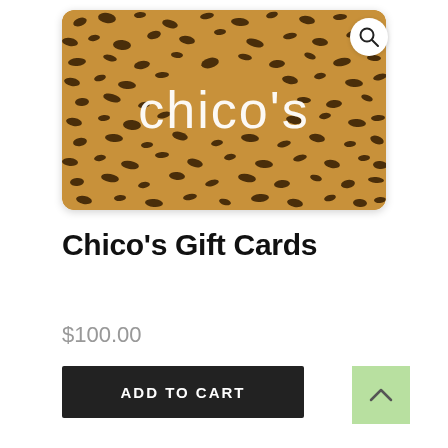[Figure (photo): Chico's gift card with leopard print background and white Chico's logo text in the center]
Chico's Gift Cards
$100.00
ADD TO CART